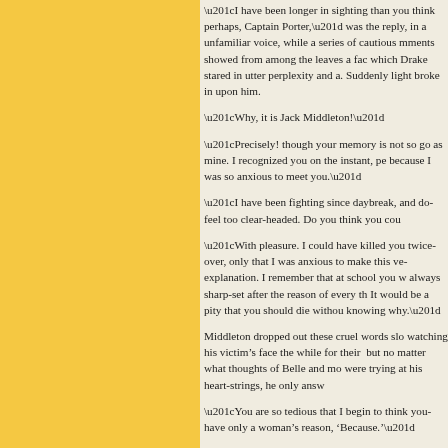“I have been longer in sighting than you think perhaps, Captain Porter,” was the reply, in a unfamiliar voice, while a series of cautious movements showed from among the leaves a face at which Drake stared in utter perplexity and a. Suddenly light broke in upon him.

“Why, it is Jack Middleton!”

“Precisely! though your memory is not so good as mine. I recognized you on the instant, pe because I was so anxious to meet you.”

“I have been fighting since daybreak, and do feel too clear-headed. Do you think you cou

“With pleasure. I could have killed you twice over, only that I was anxious to make this ve explanation. I remember that at school you w always sharp-set after the reason of every th It would be a pity that you should die withou knowing why.”

Middleton dropped out these cruel words slo watching his victim’s face the while for their but no matter what thoughts of Belle and mo were trying at his heart-strings, he only answ

“You are so tedious that I begin to think you have only a woman’s reason, ‘Because.’”

“You shall see. You remember that som